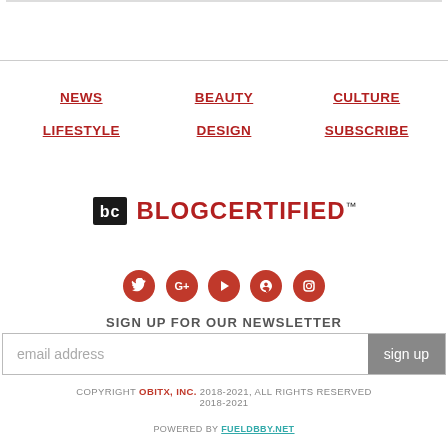NEWS
BEAUTY
CULTURE
LIFESTYLE
DESIGN
SUBSCRIBE
[Figure (logo): BlogCertified logo with BC icon and red/black text, trademark symbol]
[Figure (illustration): Five social media icons in red circles: Twitter, Google+, YouTube, Facebook, Instagram]
SIGN UP FOR OUR NEWSLETTER
email address   sign up
COPYRIGHT OBITX, INC. 2018-2021, ALL RIGHTS RESERVED 2018-2021
POWERED BY FUELDBBY.NET